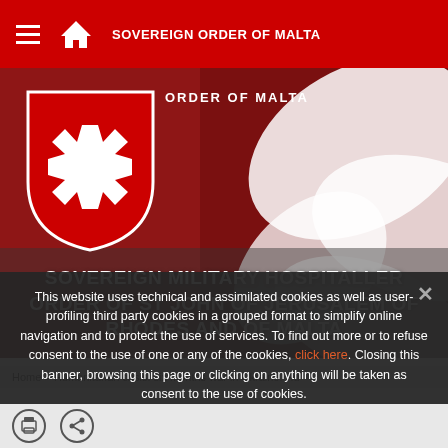SOVEREIGN ORDER OF MALTA
[Figure (illustration): Order of Malta shield logo with white Maltese cross on red background, overlaid on a red and white flag photo. Text: ORDER OF MALTA]
SOVEREIGN MILITARY HOSPITALLER ORDER OF ST JOHN OF JERUSALEM OF RHODES AND OF MALTA
This website uses technical and assimilated cookies as well as user-profiling third party cookies in a grouped format to simplify online navigation and to protect the use of services. To find out more or to refuse consent to the use of one or any of the cookies, click here. Closing this banner, browsing this page or clicking on anything will be taken as consent to the use of cookies.
Home > Humanitarian crisis: six months war in Ukraine. Hu
Ok   Privacy policy